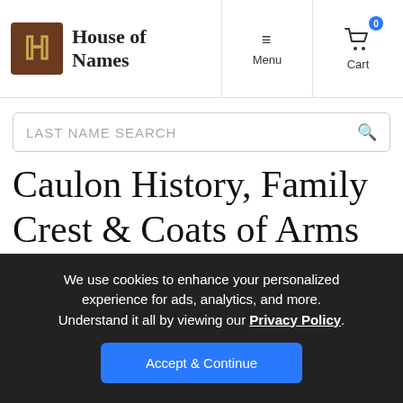House of Names — Menu | Cart
LAST NAME SEARCH
Caulon History, Family Crest & Coats of Arms
Origins Available: Ireland | Wales
We use cookies to enhance your personalized experience for ads, analytics, and more. Understand it all by viewing our Privacy Policy. Accept & Continue